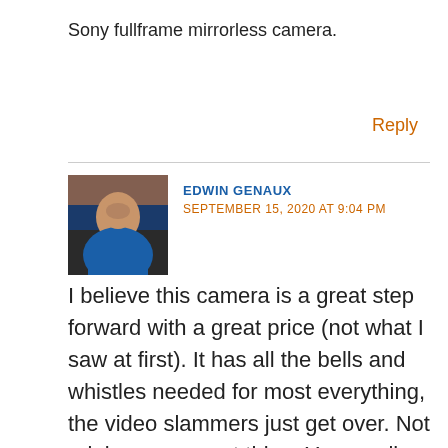Sony fullframe mirrorless camera.
Reply
EDWIN GENAUX
SEPTEMBER 15, 2020 AT 9:04 PM
[Figure (photo): Profile photo of Edwin Genaux, a man in a blue shirt]
I believe this camera is a great step forward with a great price (not what I saw at first). It has all the bells and whistles needed for most everything, the video slammers just get over. Not raining on a great thing, Yes small but even with my A7 models it is the lens size with the smaller